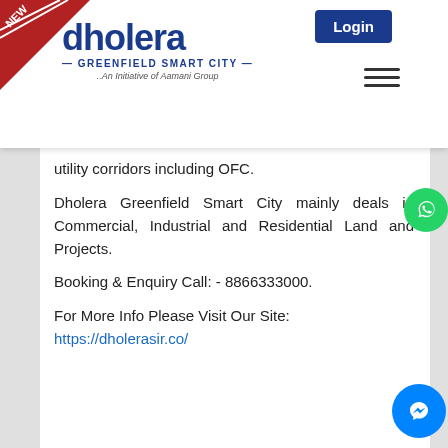[Figure (logo): Dholera Greenfield Smart City logo with 'NEW' ribbon badge and Login button in header]
utility corridors including OFC.
Dholera Greenfield Smart City mainly deals in Commercial, Industrial and Residential Land and Projects.
Booking & Enquiry Call: - 8866333000.
For More Info Please Visit Our Site: https://dholerasir.co/